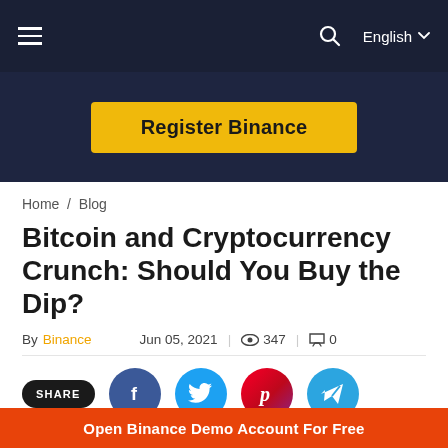≡   🔍   English ▼
[Figure (other): Register Binance yellow button on dark banner background]
Home / Blog
Bitcoin and Cryptocurrency Crunch: Should You Buy the Dip?
By Binance   Jun 05, 2021  |  👁 347  |  💬 0
[Figure (infographic): SHARE label followed by social media icons: Facebook (blue circle), Twitter (light blue circle), Pinterest (gradient red/purple circle), Telegram (blue circle)]
Open Binance Demo Account For Free